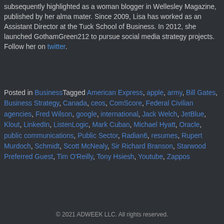subsequently highlighted as a woman blogger in Wellesley Magazine, published by her alma mater. Since 2009, Lisa has worked as an Assistant Director at the Tuck School of Business. In 2012, she launched GothamGreen212 to pursue social media strategy projects. Follow her on twitter.
Posted in BusinessTagged American Express, apple, army, Bill Gates, Business Strategy, Canada, ceos, ComScore, Federal Civilian agencies, Fred Wilson, google, international, Jack Welch, JetBlue, Klout, LinkedIn, ListenLogic, Mark Cuban, Michael Hyatt, Oracle, public communications, Public Sector, Radian6, resumes, Rupert Murdoch, Schmidt, Scott McNealy, Sir Richard Branson, Starwood Preferred Guest, Tim O'Reilly, Tony Hsiesh, Youtube, Zappos
© 2021 ADWEEK LLC. All rights reserved.